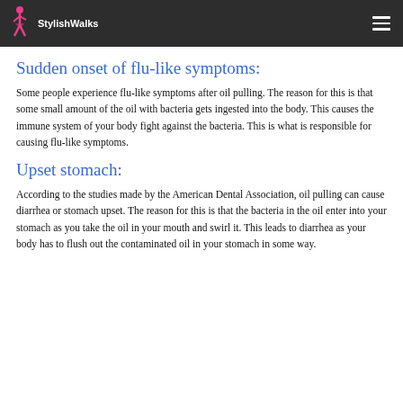StylishWalks
Sudden onset of flu-like symptoms:
Some people experience flu-like symptoms after oil pulling. The reason for this is that some small amount of the oil with bacteria gets ingested into the body. This causes the immune system of your body fight against the bacteria. This is what is responsible for causing flu-like symptoms.
Upset stomach:
According to the studies made by the American Dental Association, oil pulling can cause diarrhea or stomach upset. The reason for this is that the bacteria in the oil enter into your stomach as you take the oil in your mouth and swirl it. This leads to diarrhea as your body has to flush out the contaminated oil in your stomach in some way.